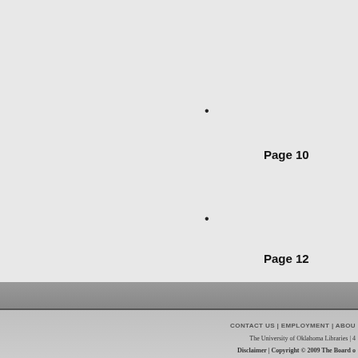•
Page 10
•
Page 12
Back to top
CONTACT US | EMPLOYMENT | ABOU
The University of Oklahoma Libraries | 4
Disclaimer | Copyright © 2009 The Board o